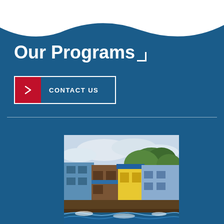Our Programs
CONTACT US
[Figure (photo): Photograph of hurricane-damaged coastal buildings with colorful facades (blue, yellow) being battered by waves, with trees in the background and cloudy sky.]